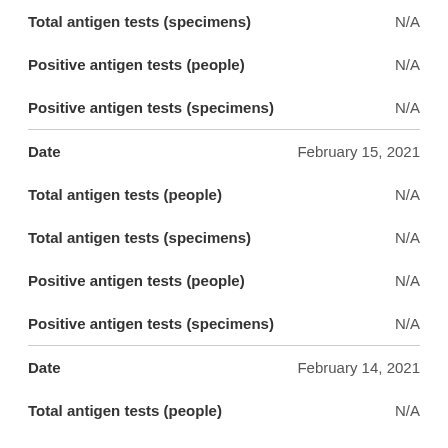Total antigen tests (specimens)  N/A
Positive antigen tests (people)  N/A
Positive antigen tests (specimens)  N/A
Date  February 15, 2021
Total antigen tests (people)  N/A
Total antigen tests (specimens)  N/A
Positive antigen tests (people)  N/A
Positive antigen tests (specimens)  N/A
Date  February 14, 2021
Total antigen tests (people)  N/A